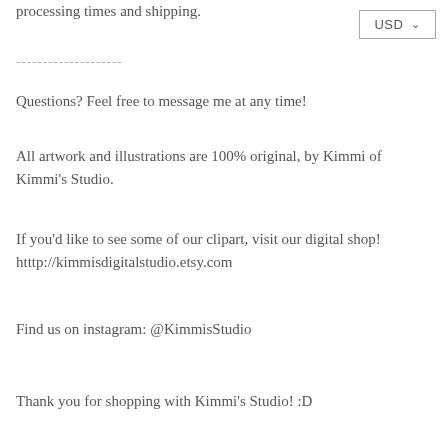processing times and shipping.
[Figure (other): USD currency selector dropdown button in top right corner]
--------------------
Questions? Feel free to message me at any time!
All artwork and illustrations are 100% original, by Kimmi of Kimmi's Studio.
If you'd like to see some of our clipart, visit our digital shop! htttp://kimmisdigitalstudio.etsy.com
Find us on instagram: @KimmisStudio
Thank you for shopping with Kimmi's Studio! :D